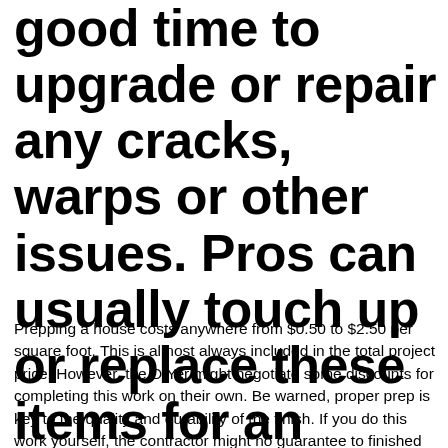good time to upgrade or repair any cracks, warps or other issues. Pros can usually touch up or replace these items for an affordable rate, and they may even package such fixups with your project.
Prepping a house costs anywhere from $0.50 to $2.50 per square foot. This is almost always included in the total project price. However, the DIYer might negotiate some discounts for completing this work on their own. Be warned, proper prep is key to the quality and durability of the finish. If you do this work yourself, the contractor might no guarantee to finished product. Aurora House Painting